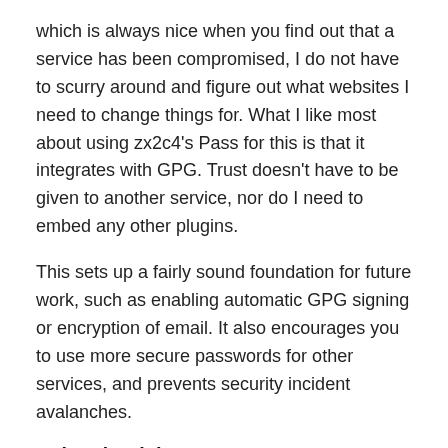which is always nice when you find out that a service has been compromised, I do not have to scurry around and figure out what websites I need to change things for. What I like most about using zx2c4's Pass for this is that it integrates with GPG. Trust doesn't have to be given to another service, nor do I need to embed any other plugins.
This sets up a fairly sound foundation for future work, such as enabling automatic GPG signing or encryption of email. It also encourages you to use more secure passwords for other services, and prevents security incident avalanches.
Related articles
Creating The Perfect GPG Keypair (alexcabal.com)
Bruce Schneier just changed his PGP key to 4096 bits (news.ycombinator.com)
Setting Up Automated GPG Email Encryption With